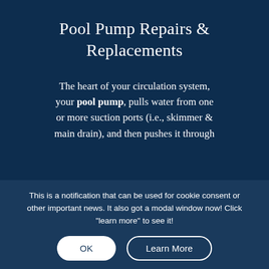Pool Pump Repairs & Replacements
The heart of your circulation system, your pool pump, pulls water from one or more suction ports (i.e., skimmer & main drain), and then pushes it through
This is a notification that can be used for cookie consent or other important news. It also got a modal window now! Click "learn more" to see it!